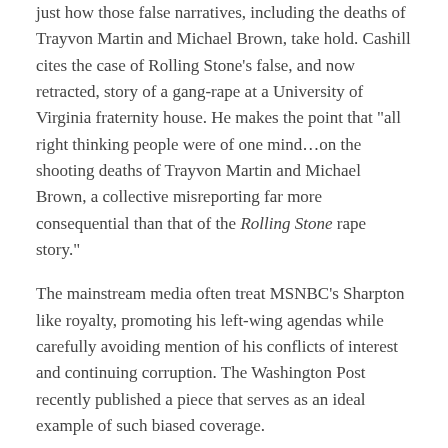just how those false narratives, including the deaths of Trayvon Martin and Michael Brown, take hold. Cashill cites the case of Rolling Stone's false, and now retracted, story of a gang-rape at a University of Virginia fraternity house. He makes the point that "all right thinking people were of one mind…on the shooting deaths of Trayvon Martin and Michael Brown, a collective misreporting far more consequential than that of the Rolling Stone rape story."
The mainstream media often treat MSNBC's Sharpton like royalty, promoting his left-wing agendas while carefully avoiding mention of his conflicts of interest and continuing corruption. The Washington Post recently published a piece that serves as an ideal example of such biased coverage.
The piece, "Sharpton to lead advocacy campaign in advance of 2016 election," written by Wesley Lowery, acts as a press release for Sharpton's National Action Network's radical civil rights agenda. Lowery described this agenda as promoting Loretta Lynch's nomination to replace Eric Holder as attorney general, and "opposing state-level religious objections bills,